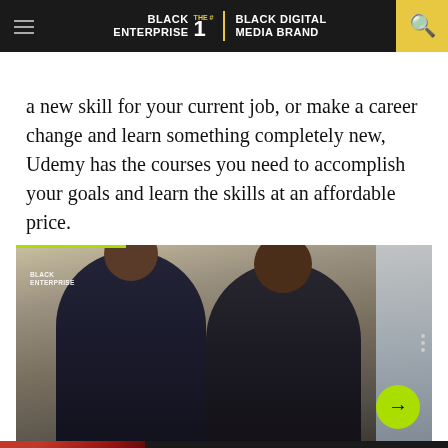BLACK ENTERPRISE THE #1 BLACK DIGITAL MEDIA BRAND
a new skill for your current job, or make a career change and learn something completely new, Udemy has the courses you need to accomplish your goals and learn the skills at an affordable price.
[Figure (photo): Two men in dark suits sitting together, with Black Enterprise watermark in upper left corner. A green progress bar appears at the top, navigation dots on the right, and a yellow-green arrow button in the lower right.]
[Figure (advertisement): Cadillac LYRIQ electric vehicle advertisement with red car image on left and text reading BE ICONIC ALL-ELECTRIC CADILLAC LYRIQ ORDER YOUR LYRIQ with fine print below. Close button on right.]